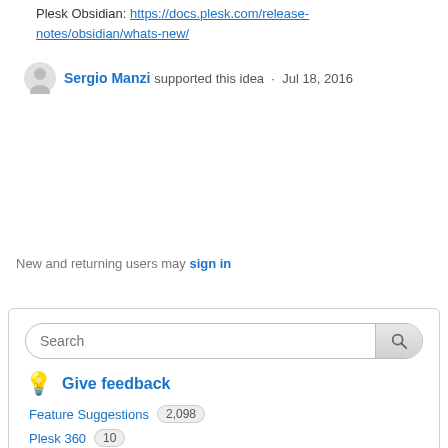Plesk Obsidian: https://docs.plesk.com/release-notes/obsidian/whats-new/
Sergio Manzi supported this idea · Jul 18, 2016
New and returning users may sign in
[Figure (screenshot): Search panel with search bar, Give feedback section with Feature Suggestions (2,098) and Plesk 360 (10)]